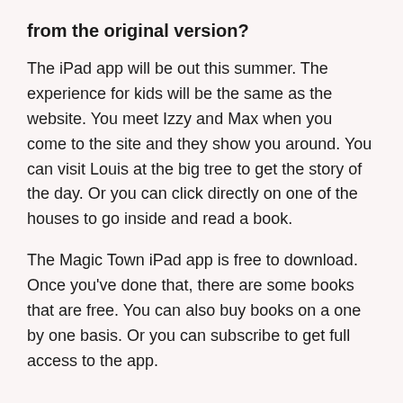from the original version?
The iPad app will be out this summer. The experience for kids will be the same as the website. You meet Izzy and Max when you come to the site and they show you around. You can visit Louis at the big tree to get the story of the day. Or you can click directly on one of the houses to go inside and read a book.
The Magic Town iPad app is free to download. Once you've done that, there are some books that are free. You can also buy books on a one by one basis. Or you can subscribe to get full access to the app.
— –
For more info about Magic Town,